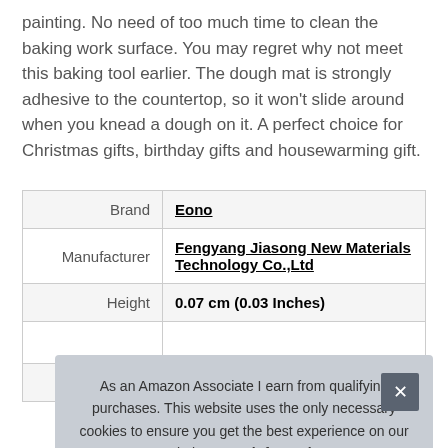painting. No need of too much time to clean the baking work surface. You may regret why not meet this baking tool earlier. The dough mat is strongly adhesive to the countertop, so it won't slide around when you knead a dough on it. A perfect choice for Christmas gifts, birthday gifts and housewarming gift.
|  |  |
| --- | --- |
| Brand | Eono |
| Manufacturer | Fengyang Jiasong New Materials Technology Co.,Ltd |
| Height | 0.07 cm (0.03 Inches) |
|  |  |
| Part Number | EN-2110 |
As an Amazon Associate I earn from qualifying purchases. This website uses the only necessary cookies to ensure you get the best experience on our website. More information